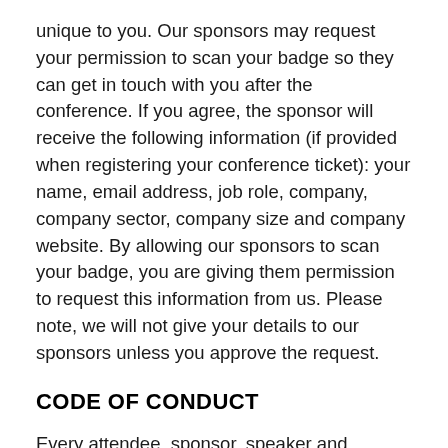unique to you. Our sponsors may request your permission to scan your badge so they can get in touch with you after the conference. If you agree, the sponsor will receive the following information (if provided when registering your conference ticket): your name, email address, job role, company, company sector, company size and company website. By allowing our sponsors to scan your badge, you are giving them permission to request this information from us. Please note, we will not give your details to our sponsors unless you approve the request.
CODE OF CONDUCT
Every attendee, sponsor, speaker and member of staff agrees to comply in full with our conference code of conduct